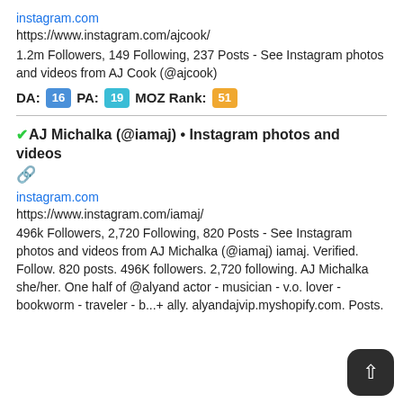instagram.com
https://www.instagram.com/ajcook/
1.2m Followers, 149 Following, 237 Posts - See Instagram photos and videos from AJ Cook (@ajcook)
DA: 16  PA: 19  MOZ Rank: 51
AJ Michalka (@iamaj) • Instagram photos and videos
instagram.com
https://www.instagram.com/iamaj/
496k Followers, 2,720 Following, 820 Posts - See Instagram photos and videos from AJ Michalka (@iamaj) iamaj. Verified. Follow. 820 posts. 496K followers. 2,720 following. AJ Michalka she/her. One half of @alyand actor - musician - v.o. lover - bookworm - traveler - b...+ ally. alyandajvip.myshopify.com. Posts.